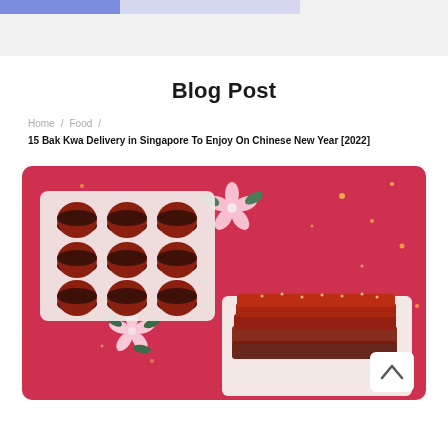Blog Post
Blog Post
Home / Food / 15 Bak Kwa Delivery in Singapore To Enjoy On Chinese New Year [2022]
[Figure (photo): Photo of bak kwa (Chinese BBQ pork jerky): circular stacked bak kwa pieces on a tray on the left, and flat rectangular slices stacked on a plate on the right, against a red festive background with pink cherry blossom flowers and gold confetti.]